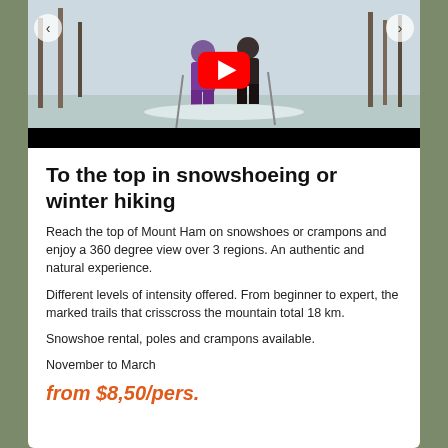[Figure (photo): Screenshot of a YouTube video thumbnail showing two people snowshoeing in a snowy forest, with YouTube play button overlay and navigation arrows]
To the top in snowshoeing or winter hiking
Reach the top of Mount Ham on snowshoes or crampons and enjoy a 360 degree view over 3 regions. An authentic and natural experience.
Different levels of intensity offered. From beginner to expert, the marked trails that crisscross the mountain total 18 km.
Snowshoe rental, poles and crampons available.
November to March
from $8,50/pers.